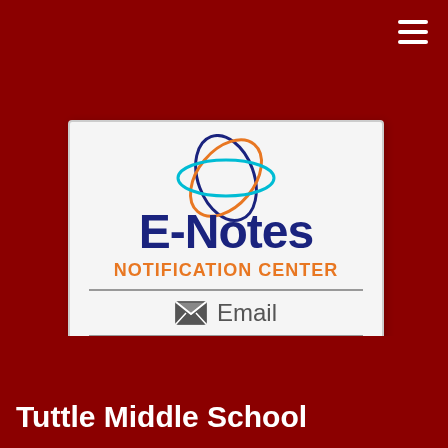[Figure (logo): E-Notes Notification Center logo with atom graphic, orange text NOTIFICATION CENTER, and Email option with envelope icon]
Tuttle Middle School